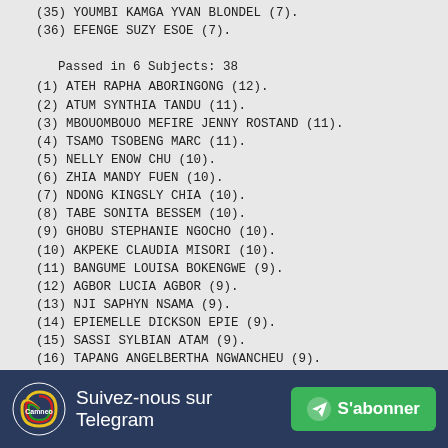(35) YOUMBI KAMGA YVAN BLONDEL (7).
(36) EFENGE SUZY ESOE (7).
Passed in 6 Subjects: 38
(1) ATEH RAPHA ABORINGONG (12).
(2) ATUM SYNTHIA TANDU (11).
(3) MBOUOMBOUO MEFIRE JENNY ROSTAND (11).
(4) TSAMO TSOBENG MARC (11).
(5) NELLY ENOW CHU (10).
(6) ZHIA MANDY FUEN (10).
(7) NDONG KINGSLY CHIA (10).
(8) TABE SONITA BESSEM (10).
(9) GHOBU STEPHANIE NGOCHO (10).
(10) AKPEKE CLAUDIA MISORI (10).
(11) BANGUME LOUISA BOKENGWE (9).
(12) AGBOR LUCIA AGBOR (9).
(13) NJI SAPHYN NSAMA (9).
(14) EPIEMELLE DICKSON EPIE (9).
(15) SASSI SYLBIAN ATAM (9).
(16) TAPANG ANGELBERTHA NGWANCHEU (9).
(17) SEMA GELDOVE GADINGA (8).
Suivez-nous sur Telegram  S'abonner